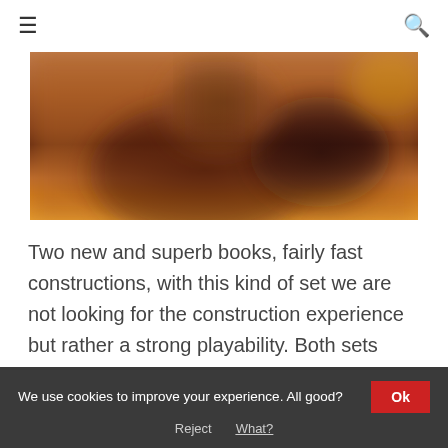≡  [search icon]
[Figure (photo): A blurry macro photo of what appears to be a LEGO minifigure being held, with warm brown and orange tones dominating the image. The background is out of focus with warm yellowish light.]
Two new and superb books, fairly fast constructions, with this kind of set we are not looking for the construction experience but rather a strong playability. Both sets meet the criteria perfectly. 5 new minifigures of our favorite hero…
We use cookies to improve your experience. All good?
Ok
Reject
What?